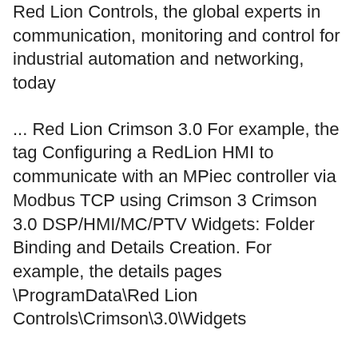Red Lion Controls, the global experts in communication, monitoring and control for industrial automation and networking, today
... Red Lion Crimson 3.0 For example, the tag Configuring a RedLion HMI to communicate with an MPiec controller via Modbus TCP using Crimson 3 Crimson 3.0 DSP/HMI/MC/PTV Widgets: Folder Binding and Details Creation. For example, the details pages \ProgramData\Red Lion Controls\Crimson\3.0\Widgets
This Red Lion Controls video on data logging we will use a Red Lion Data Station Plus and Crimson 3.0 software